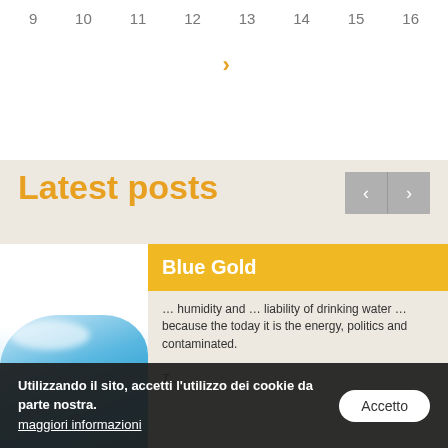9  10  11  12  13  14  15  16
[Figure (screenshot): Navigation arrow (chevron right) in orange/gold color below the number 12]
Latest posts
[Figure (screenshot): Carousel navigation buttons: left arrow and right arrow on grey background]
[Figure (photo): Water splash image showing blue water with white splash on white background]
Blue Gold
... humidity and ... liability of drinking water ... because the today it is the energy, politics and contaminated.
Utilizzando il sito, accetti l'utilizzo dei cookie da parte nostra.
maggiori informazioni